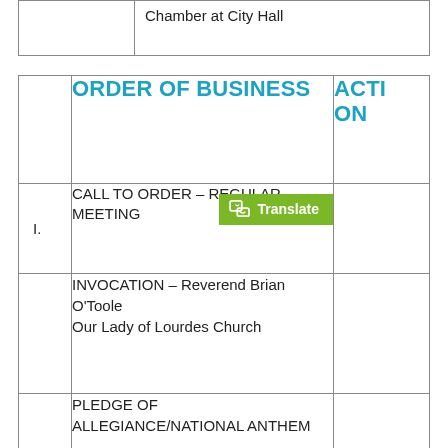|  | Chamber at City Hall |
| --- | --- |
|  | ORDER OF BUSINESS | ACTION |
| --- | --- | --- |
| I. | CALL TO ORDER – REGULAR MEETING |  |
|  | INVOCATION – Reverend Brian O'Toole
Our Lady of Lourdes Church |  |
|  | PLEDGE OF ALLEGIANCE/NATIONAL ANTHEM |  |